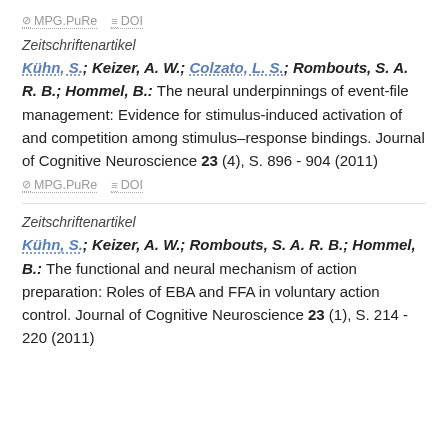MPG.PuRe   DOI
Zeitschriftenartikel
Kühn, S.; Keizer, A. W.; Colzato, L. S.; Rombouts, S. A. R. B.; Hommel, B.: The neural underpinnings of event-file management: Evidence for stimulus-induced activation of and competition among stimulus–response bindings. Journal of Cognitive Neuroscience 23 (4), S. 896 - 904 (2011)
MPG.PuRe   DOI
Zeitschriftenartikel
Kühn, S.; Keizer, A. W.; Rombouts, S. A. R. B.; Hommel, B.: The functional and neural mechanism of action preparation: Roles of EBA and FFA in voluntary action control. Journal of Cognitive Neuroscience 23 (1), S. 214 - 220 (2011)